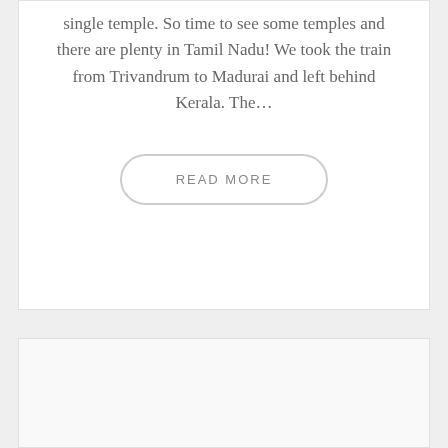single temple. So time to see some temples and there are plenty in Tamil Nadu! We took the train from Trivandrum to Madurai and left behind Kerala. The…
READ MORE